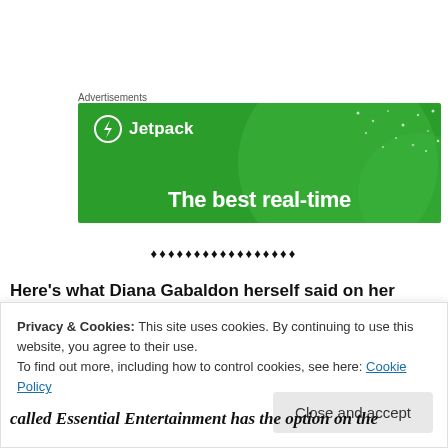Advertisements
[Figure (illustration): Jetpack advertisement banner with green background, large translucent circles, white Jetpack logo with lightning bolt icon, and text 'The best real-time']
♦♦♦♦♦♦♦♦♦♦♦♦♦♦♦♦♦
Here's what Diana Gabaldon herself said on her
Privacy & Cookies: This site uses cookies. By continuing to use this website, you agree to their use. To find out more, including how to control cookies, see here: Cookie Policy
called Essential Entertainment has the option on the